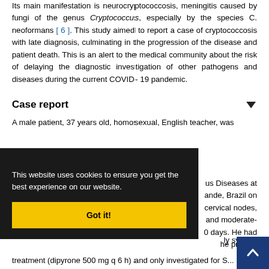Its main manifestation is neurocryptococcosis, meningitis caused by fungi of the genus Cryptococcus, especially by the species C. neoformans [ 6 ]. This study aimed to report a case of cryptococcosis with late diagnosis, culminating in the progression of the disease and patient death. This is an alert to the medical community about the risk of delaying the diagnostic investigation of other pathogens and diseases during the current COVID- 19 pandemic.
Case report
A male patient, 37 years old, homosexual, English teacher, was admitted to the Infectious Diseases at Hospital São Lucas, Rio Grande, Brazil on ... cervical nodes, ... and moderate- ... 0 days. He had ... he preceding ... ly sympto...
treatment (dipyrone 500 mg q 6 h) and only investigated for S...
This website uses cookies to ensure you get the best experience on our website.
Got it!